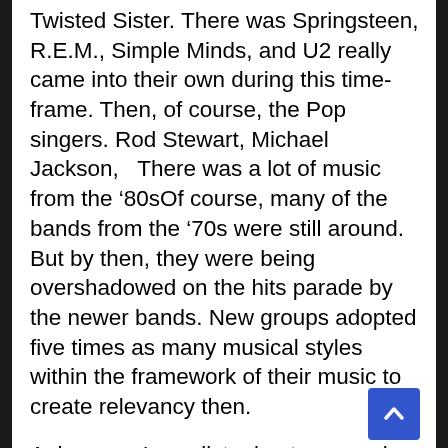Twisted Sister.  There was Springsteen, R.E.M., Simple Minds, and U2 really came into their own during this time-frame.  Then, of course, the Pop singers.  Rod Stewart, Michael Jackson,   There was a lot of music from the ‘80sOf course, many of the bands from the ‘70s were still around.  But by then, they were being overshadowed on the hits parade by the newer bands.  New groups adopted five times as many musical styles within the framework of their music to create relevancy then.
A day ago, I was listening to several tracks from Klaus Nomi (because of the reference that I ran across), and I began to think about the influence of the ‘80s.  With its vast musical